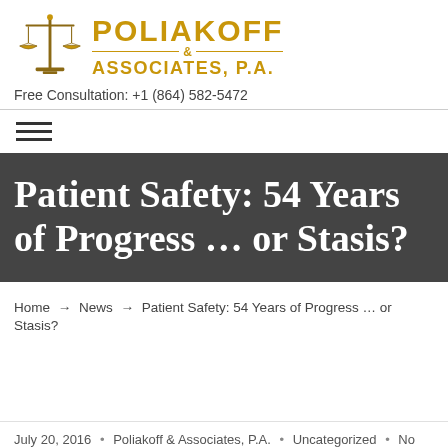[Figure (logo): Poliakoff & Associates, P.A. law firm logo with scales of justice and gold text]
Free Consultation: +1 (864) 582-5472
[Figure (other): Hamburger menu icon with three horizontal lines]
Patient Safety: 54 Years of Progress … or Stasis?
Home → News → Patient Safety: 54 Years of Progress … or Stasis?
July 20, 2016 • Poliakoff & Associates, P.A. • Uncategorized • No